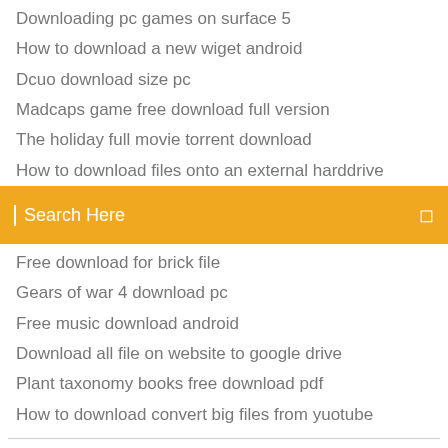Downloading pc games on surface 5
How to download a new wiget android
Dcuo download size pc
Madcaps game free download full version
The holiday full movie torrent download
How to download files onto an external harddrive
[Figure (screenshot): Orange search bar with text 'Search Here' and a small icon on the right]
Free download for brick file
Gears of war 4 download pc
Free music download android
Download all file on website to google drive
Plant taxonomy books free download pdf
How to download convert big files from yuotube
Download this torrent (magnet link) piratebay.org/..Heroes_-_Season_3_(Volume_Three_[3]__Villains_-_Complete)_-_S03 Miss March 2009 Unrated Dvdrip XviD-Amiable (download torrent) - TBP